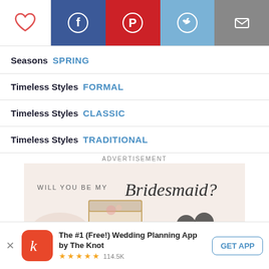[Figure (screenshot): Top navigation bar with heart icon, Facebook, Pinterest, Twitter, and mail icons]
Seasons  SPRING
Timeless Styles  FORMAL
Timeless Styles  CLASSIC
Timeless Styles  TRADITIONAL
ADVERTISEMENT
[Figure (photo): Advertisement image: 'WILL YOU BE MY Bridesmaid?' with jewelry boxes and accessories on a light background]
The #1 (Free!) Wedding Planning App by The Knot  ★★★★★ 114.5K  GET APP